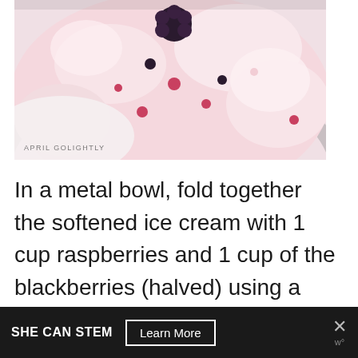[Figure (photo): Close-up photo of a bowl of raspberry and blackberry ice cream, pink-tinted with visible berry pieces and blackberries. Watermark reads 'APRIL GOLIGHTLY' in bottom-left corner.]
In a metal bowl, fold together the softened ice cream with 1 cup raspberries and 1 cup of the blackberries (halved) using a rubber spatula. Allow the berries to evenly distribute into the ice
SHE CAN STEM   Learn More